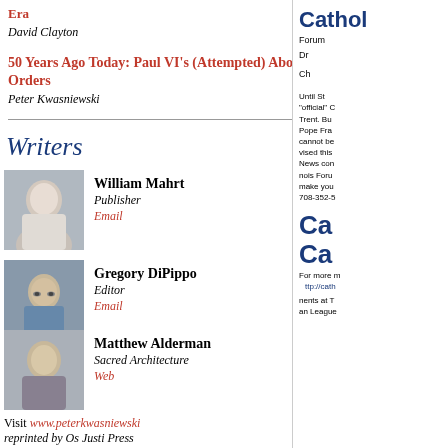Era
David Clayton
50 Years Ago Today: Paul VI's (Attempted) Abolition of the Subdiaconate and Minor Orders
Peter Kwasniewski
Writers
William Mahrt
Publisher
Email
Gregory DiPippo
Editor
Email
Matthew Alderman
Sacred Architecture
Web
Visit www.peterkwasniewski reprinted by Os Justi Press
Cathol Forum Dr Ch Until S "official" C Trent. Bu Pope Fra cannot be vised this News con nois Foru make you 708-352-5
[Figure (other): Ca Ca For more m ttp://tath nents at T an League]